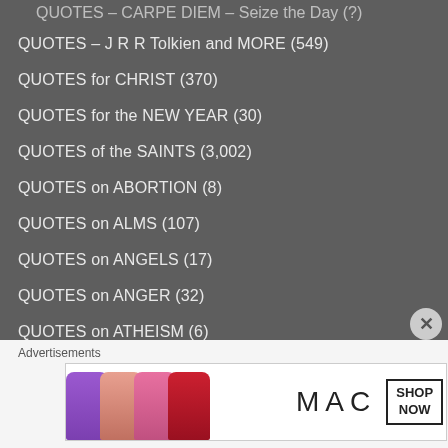QUOTES – CARPE DIEM – Seize the Day (?)
QUOTES – J R R Tolkien and MORE (549)
QUOTES for CHRIST (370)
QUOTES for the NEW YEAR (30)
QUOTES of the SAINTS (3,002)
QUOTES on ABORTION (8)
QUOTES on ALMS (107)
QUOTES on ANGELS (17)
QUOTES on ANGER (32)
QUOTES on ATHEISM (6)
QUOTES on BAD CONVERSATION (34)
Advertisements
[Figure (photo): MAC cosmetics advertisement showing lipsticks in purple, peach, pink and red, MAC logo, and a SHOP NOW box]